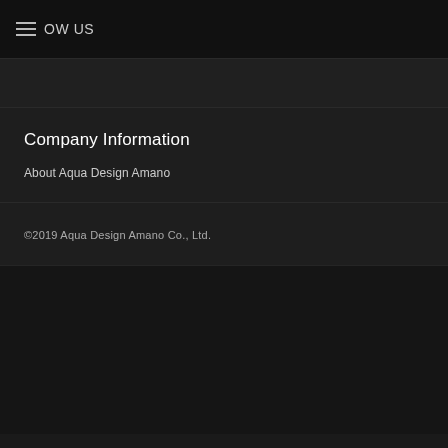OW US
Company Information
About Aqua Design Amano
©2019 Aqua Design Amano Co., Ltd.